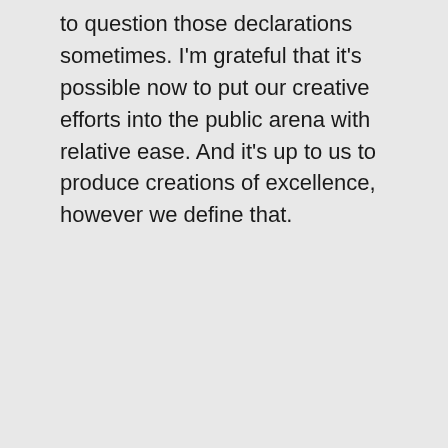to question those declarations sometimes. I'm grateful that it's possible now to put our creative efforts into the public arena with relative ease. And it's up to us to produce creations of excellence, however we define that.
★ Like
besonian on August 9, 2021 at 4:12 am
I agree with you Audrey. I think it's